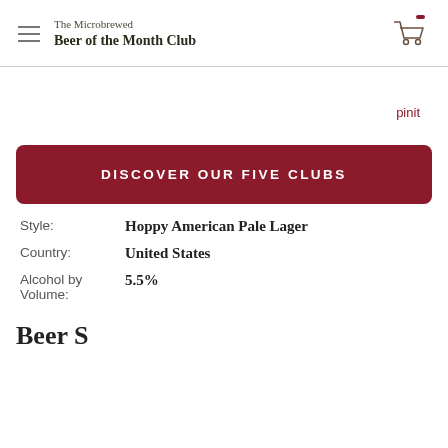The Microbrewed Beer of the Month Club
pinit
DISCOVER OUR FIVE CLUBS
| Field | Value |
| --- | --- |
| Style: | Hoppy American Pale Lager |
| Country: | United States |
| Alcohol by Volume: | 5.5% |
Beer S…